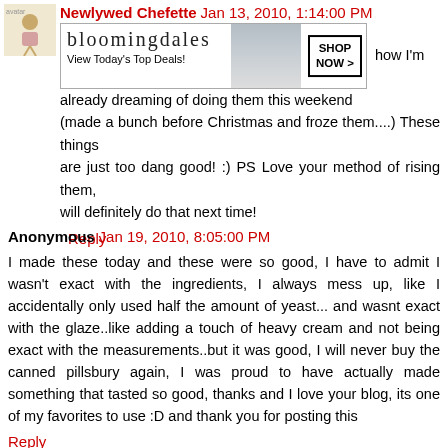Newlywed Chefette  Jan 13, 2010, 1:14:00 PM
[Figure (other): Bloomingdales advertisement banner with logo, model in hat, and SHOP NOW button]
... how I'm already dreaming of doing them this weekend (made a bunch before Christmas and froze them....) These things are just too dang good! :) PS Love your method of rising them, will definitely do that next time!
Reply
Anonymous  Jan 19, 2010, 8:05:00 PM
I made these today and these were so good, I have to admit I wasn't exact with the ingredients, I always mess up, like I accidentally only used half the amount of yeast... and wasnt exact with the glaze..like adding a touch of heavy cream and not being exact with the measurements..but it was good, I will never buy the canned pillsbury again, I was proud to have actually made something that tasted so good, thanks and I love your blog, its one of my favorites to use :D and thank you for posting this
Reply